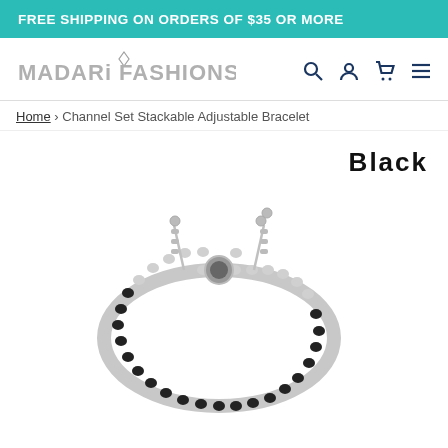FREE SHIPPING ON ORDERS OF $35 OR MORE
[Figure (logo): Madari Fashions logo with navigation icons (search, account, cart, menu)]
Home › Channel Set Stackable Adjustable Bracelet
Black
[Figure (photo): Black channel set stackable adjustable bracelet with silver chain and slider closure, featuring black gemstones set in silver channel setting forming a tennis bracelet shape]